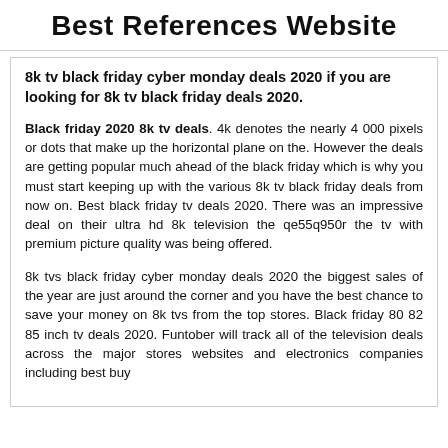Best References Website
8k tv black friday cyber monday deals 2020 if you are looking for 8k tv black friday deals 2020.
Black friday 2020 8k tv deals. 4k denotes the nearly 4 000 pixels or dots that make up the horizontal plane on the. However the deals are getting popular much ahead of the black friday which is why you must start keeping up with the various 8k tv black friday deals from now on. Best black friday tv deals 2020. There was an impressive deal on their ultra hd 8k television the qe55q950r the tv with premium picture quality was being offered.
8k tvs black friday cyber monday deals 2020 the biggest sales of the year are just around the corner and you have the best chance to save your money on 8k tvs from the top stores. Black friday 80 82 85 inch tv deals 2020. Funtober will track all of the television deals across the major stores websites and electronics companies including best buy